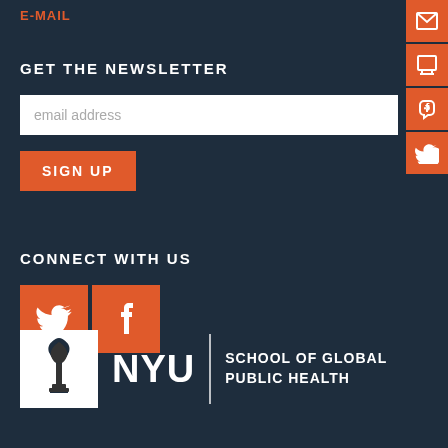E-MAIL
GET THE NEWSLETTER
email address
SIGN UP
CONNECT WITH US
[Figure (logo): Twitter bird icon (orange square)]
[Figure (logo): Facebook f icon (orange square)]
[Figure (logo): NYU School of Global Public Health logo with torch, NYU wordmark, and school name]